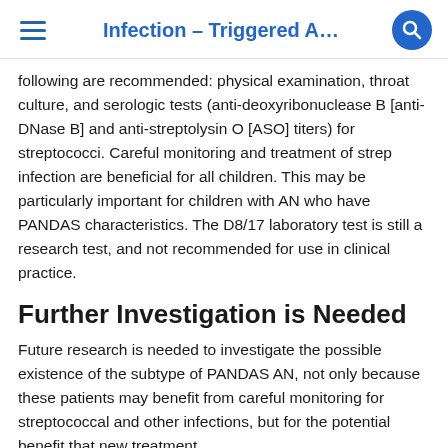Infection–Triggered A…
following are recommended: physical examination, throat culture, and serologic tests (anti-deoxyribonuclease B [anti-DNase B] and anti-streptolysin O [ASO] titers) for streptococci. Careful monitoring and treatment of strep infection are beneficial for all children. This may be particularly important for children with AN who have PANDAS characteristics. The D8/17 laboratory test is still a research test, and not recommended for use in clinical practice.
Further Investigation is Needed
Future research is needed to investigate the possible existence of the subtype of PANDAS AN, not only because these patients may benefit from careful monitoring for streptococcal and other infections, but for the potential benefit that new treatment